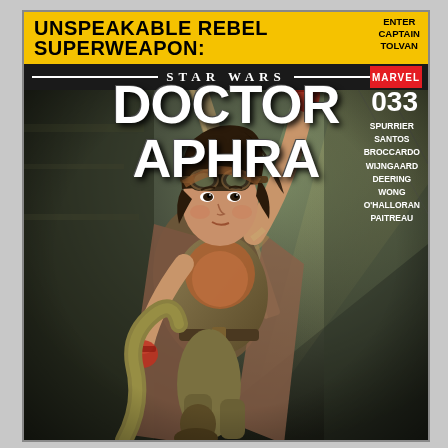UNSPEAKABLE REBEL SUPERWEAPON: ENTER CAPTAIN TOLVAN
STAR WARS DOCTOR APHRA
033
SPURRIER
SANTOS
BROCCARDO
WIJNGAARD
DEERING
WONG
O'HALLORAN
PAITREAU
[Figure (illustration): Comic book cover art showing Doctor Aphra, a young woman in adventure gear with goggles on her head, red fingerless gloves, and a tan/brown outfit, gripping a large pole or cable overhead while leaning dynamically. Background is a dark industrial/hangar setting with diagonal light beams.]